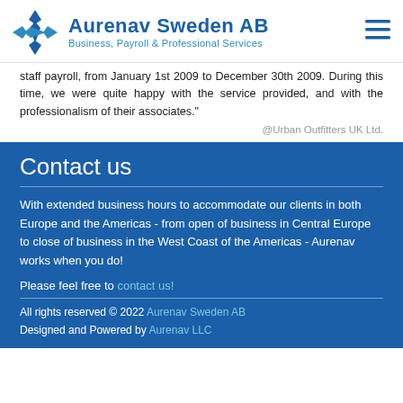Aurenav Sweden AB — Business, Payroll & Professional Services
staff payroll, from January 1st 2009 to December 30th 2009. During this time, we were quite happy with the service provided, and with the professionalism of their associates."
@Urban Outfitters UK Ltd.
Contact us
With extended business hours to accommodate our clients in both Europe and the Americas - from open of business in Central Europe to close of business in the West Coast of the Americas - Aurenav works when you do!
Please feel free to contact us!
All rights reserved © 2022 Aurenav Sweden AB
Designed and Powered by Aurenav LLC